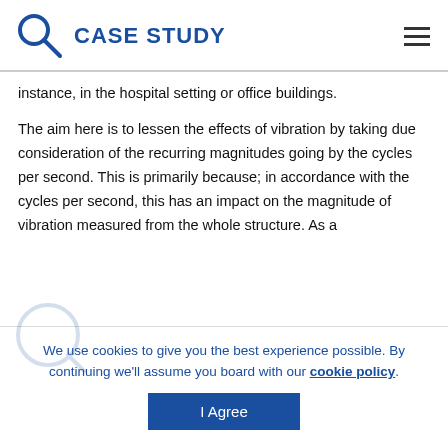CASE STUDY
instance, in the hospital setting or office buildings.
The aim here is to lessen the effects of vibration by taking due consideration of the recurring magnitudes going by the cycles per second. This is primarily because; in accordance with the cycles per second, this has an impact on the magnitude of vibration measured from the whole structure. As a
We use cookies to give you the best experience possible. By continuing we'll assume you board with our cookie policy.
I Agree